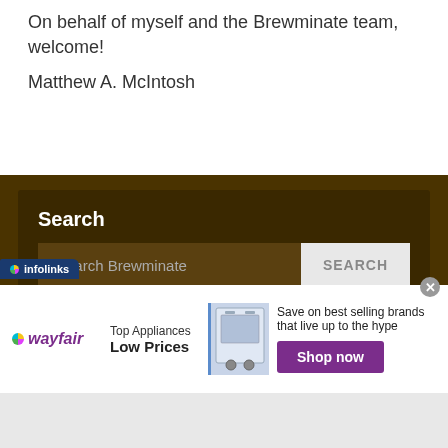On behalf of myself and the Brewminate team, welcome!
Matthew A. McIntosh
Search
Search Brewminate
SEARCH
Brewminate uses Infolinks and is an Amazon Associate with links to items available there
[Figure (screenshot): Wayfair advertisement banner: Top Appliances Low Prices, with appliance image and Shop now button]